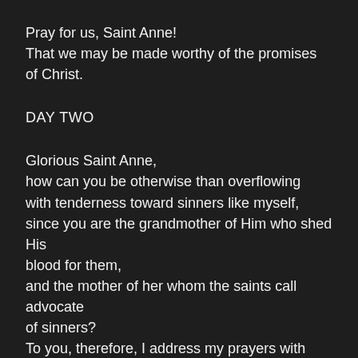Pray for us, Saint Anne!
That we may be made worthy of the promises of Christ.
DAY TWO
Glorious Saint Anne,
how can you be otherwise than overflowing
with tenderness toward sinners like myself,
since you are the grandmother of Him who shed His blood for them,
and the mother of her whom the saints call advocate of sinners?
To you, therefore, I address my prayers with confidence.
Vouchsafe to commend me to Jesus and Mary so that,
at your request, I may be granted remission of my